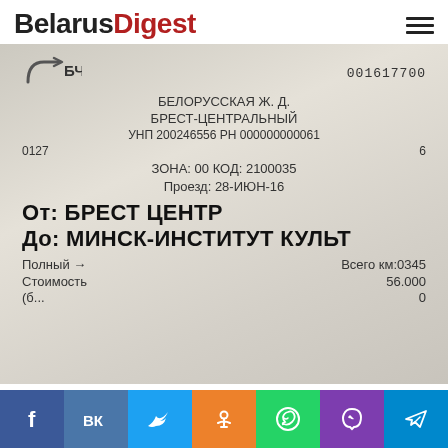BelarusDigest
[Figure (photo): Photo of a Belarusian railway (БЧ) train ticket receipt. Text on receipt: 001617700, БЕЛОРУССКАЯ Ж.Д., БРЕСТ-ЦЕНТРАЛЬНЫЙ, УНП 200246556 РН 000000000061, 0127, 6, ЗОНА: 00 КОД: 2100035, Проезд: 28-ИЮН-16, От: БРЕСТ ЦЕНТР, До: МИНСК-ИНСТИТУТ КУЛЬТ, Полный →, Всего км:0345, Стоимость, 56.000, 0]
Social share buttons: Facebook, VK, Twitter, Odnoklassniki, WhatsApp, Viber, Telegram